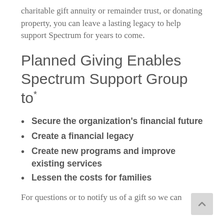charitable gift annuity or remainder trust, or donating property, you can leave a lasting legacy to help support Spectrum for years to come.
Planned Giving Enables Spectrum Support Group to*
Secure the organization's financial future
Create a financial legacy
Create new programs and improve existing services
Lessen the costs for families
For questions or to notify us of a gift so we can